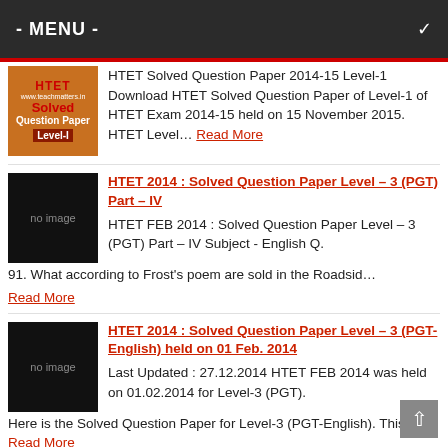- MENU -
HTET Solved Question Paper 2014-15 Level-1 Download HTET Solved Question Paper of Level-1 of HTET Exam 2014-15 held on 15 November 2015. HTET Level… Read More
HTET 2014 : Solved Question Paper Level – 3 (PGT) Part – IV HTET FEB 2014 : Solved Question Paper Level – 3 (PGT) Part – IV Subject - English Q. 91. What according to Frost's poem are sold in the Roadsid… Read More
HTET 2014 : Solved Question Paper Level – 3 (PGT-English) held on 01 Feb. 2014 Last Updated : 27.12.2014 HTET FEB 2014 was held on 01.02.2014 for Level-3 (PGT). Here is the Solved Question Paper for Level-3 (PGT-English). This… Read More